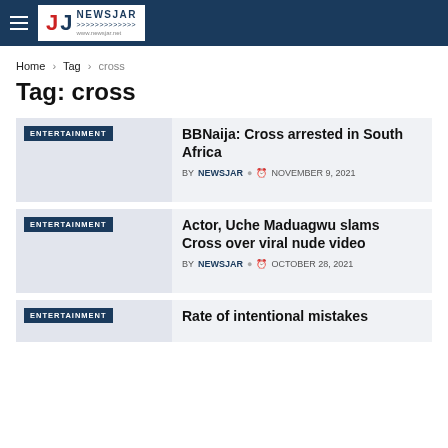NEWSJAR logo and navigation header
Home > Tag > cross
Tag: cross
BBNaija: Cross arrested in South Africa — BY NEWSJAR — NOVEMBER 9, 2021
Actor, Uche Maduagwu slams Cross over viral nude video — BY NEWSJAR — OCTOBER 28, 2021
Rate of intentional mistakes